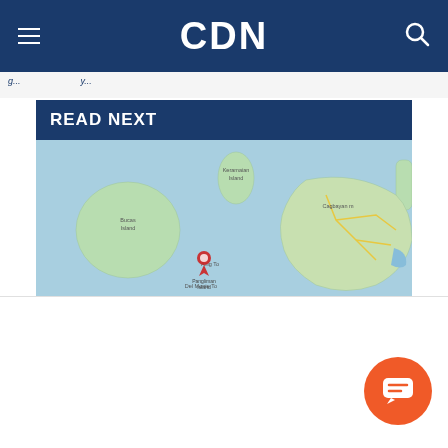CDN
READ NEXT
[Figure (map): Google Maps screenshot showing islands in a blue sea. A red location pin marker is visible near center-left of the map. Islands visible include Bucas Island (left), a small island top-center, and a larger island on the right with road networks shown.]